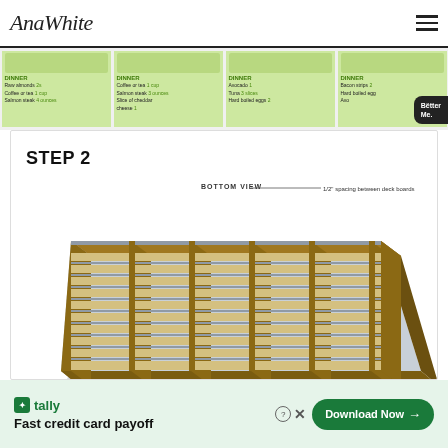AnaWhite
[Figure (screenshot): Dinner meal plan cards strip showing four dinner options with food images and ingredients lists, with a BetterMe app badge overlay]
STEP 2
[Figure (engineering-diagram): Bottom view 3D diagram of a wooden deck frame showing planks with 1/2 inch spacing between deck boards, 1 inch overhang on all ends. Instructions: Screw the deck boards to the frame with 3 inch screws and glue, two screws per board per joist. Drill pilot holes to avoid splitting the boards. Photo by Ana White, www.ana-white.com]
[Figure (infographic): Tally app advertisement banner: Fast credit card payoff, Download Now button]